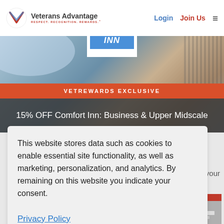Veterans Advantage RESPECT. RECOGNITION. REWARDS. | Login | Join Us
[Figure (screenshot): Comfort Inn logo with blue and dark blue background, positioned at top center of hero image]
[Figure (photo): Hero banner photo showing family (woman and child) in background, partially visible]
VETREWARDS EXCLUSIVE
15% OFF Comfort Inn: Business & Upper Midscale
This website stores data such as cookies to enable essential site functionality, as well as marketing, personalization, and analytics. By remaining on this website you indicate your consent.
Privacy Policy
ts to your